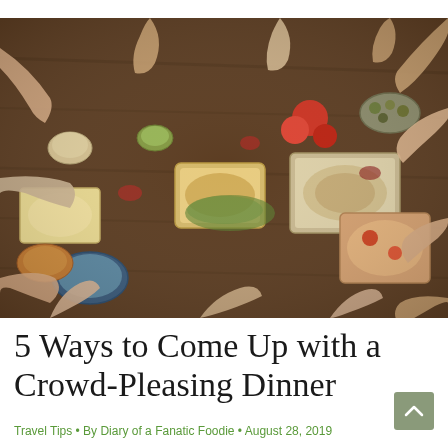[Figure (photo): Aerial top-down view of a large group of people sharing a feast at a wooden table, with hands reaching in from the sides to grab food and clink glasses. Many bowls and plates of colorful food are spread across the table.]
5 Ways to Come Up with a Crowd-Pleasing Dinner
Travel Tips • By Diary of a Fanatic Foodie • August 28, 2019